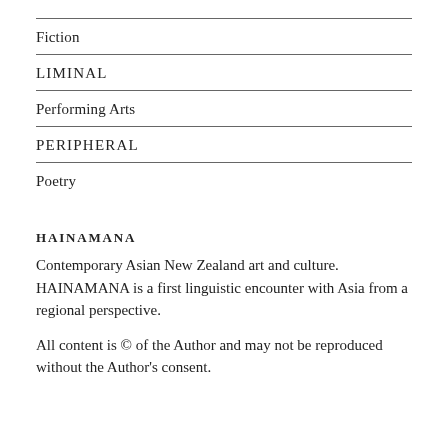Fiction
LIMINAL
Performing Arts
PERIPHERAL
Poetry
HAINAMANA
Contemporary Asian New Zealand art and culture. HAINAMANA is a first linguistic encounter with Asia from a regional perspective.
All content is © of the Author and may not be reproduced without the Author's consent.